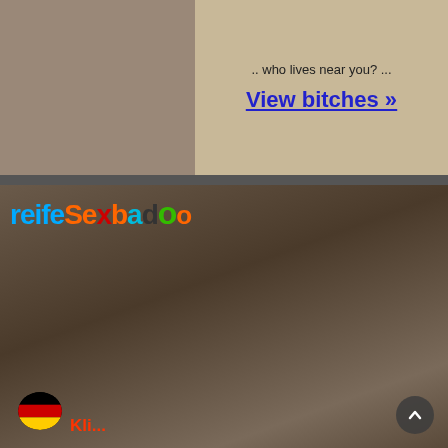[Figure (photo): Top banner advertisement with photo on left and text on right with beige background]
.. who lives near you? ...
View bitches »
[Figure (photo): reifesexbadoo website screenshot with logo overlay and explicit adult content image, German flag icon at bottom left, scroll button at bottom right]